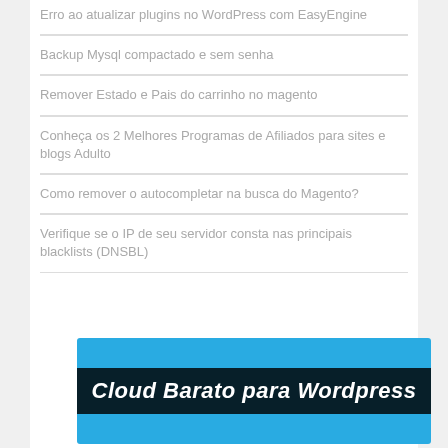Erro ao atualizar plugins no WordPress com EasyEngine
Backup Mysql compactado e sem senha
Remover Estado e Pais do carrinho no magento
Conheça os 2 Melhores Programas de Afiliados para sites e blogs Adulto
Como remover o autocompletar na busca do Magento?
Verifique se o IP de seu servidor consta nas principais blacklists (DNSBL)
[Figure (illustration): Banner: Cloud Barato para Wordpress — blue background with black bar and white italic bold text]